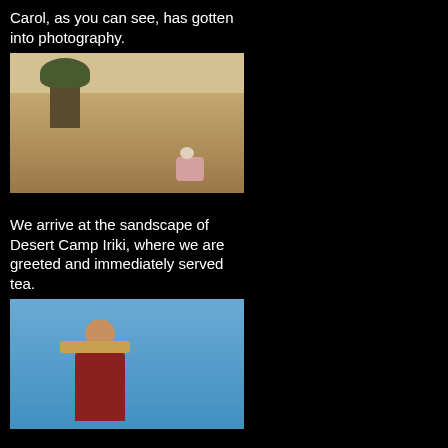Carol, as you can see, has gotten into photography.
[Figure (photo): A person crouching and taking a photo of a desert shrub in an arid sandy landscape]
We arrive at the sandscape of Desert Camp Iriki, where we are greeted and immediately served tea.
[Figure (photo): A smiling person holding a tray with tea service against a blue sky]